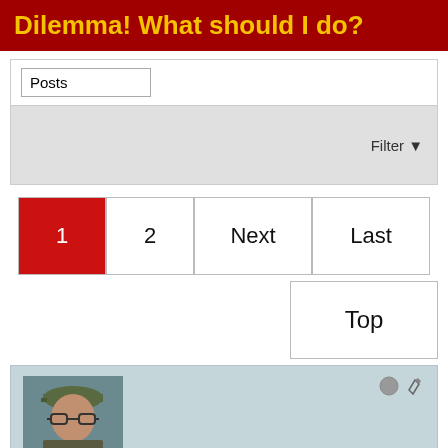Dilemma! What should I do?
[Figure (screenshot): Posts dropdown selector with chevron arrow]
Filter ▼
1  2  Next  Last
Top
[Figure (photo): User avatar photo of a man wearing glasses and a cap]
Dewesq55
Founding Member